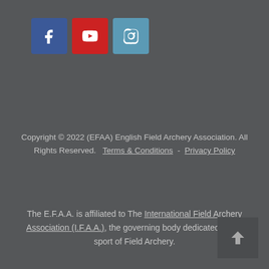[Figure (other): Three social media icon buttons: Facebook (blue), YouTube (red), Instagram (light blue)]
Copyright © 2022 (EFAA) English Field Archery Association. All Rights Reserved.  Terms & Conditions  -  Privacy Policy
The E.F.A.A. is affiliated to The International Field Archery Association (I.F.A.A.), the governing body dedicated to the sport of Field Archery.